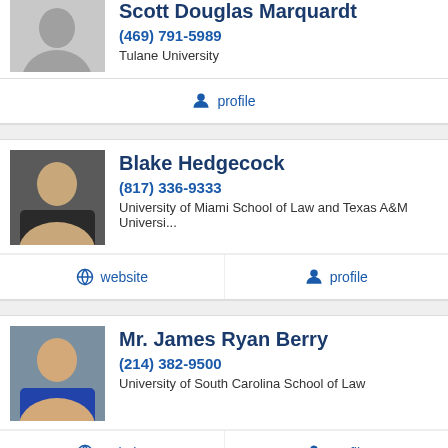Scott Douglas Marquardt
(469) 791-5989
Tulane University
profile
Blake Hedgecock
(817) 336-9333
University of Miami School of Law and Texas A&M Universi...
website  profile
Mr. James Ryan Berry
(214) 382-9500
University of South Carolina School of Law
website  profile